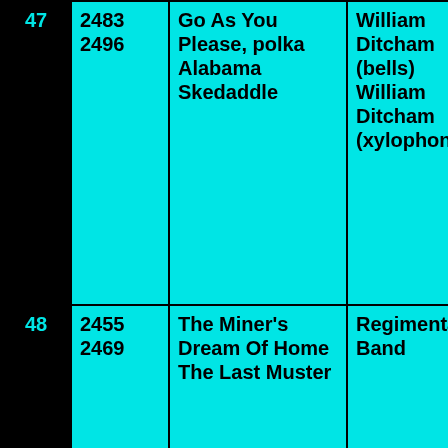| # | IDs | Titles | Artist | Release |
| --- | --- | --- | --- | --- |
| 47 | 2483
2496 | Go As You Please, polka
Alabama Skedaddle | William Ditcham (bells)
William Ditcham (xylophone) | Bell 231 |
| 48 | 2455
2469 | The Miner's Dream Of Home
The Last Muster | Regimental Band | Bell 218
Bell 222 |
| 49 | 2463
2465 | I'se Going Back To Dixie
Massa's In De Cold Cold Ground | Manhattan Minstrels | Bell 225 |
| 50 | 2462
2468 | Potted Pantomime - Cinderella
Wardle's Christmas | Four Komical Kards | Bell 221 |